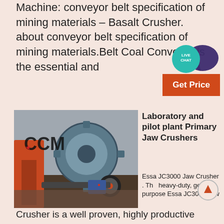Machine: conveyor belt specification of mining materials – Basalt Crusher. about conveyor belt specification of mining materials.Belt Coal Conveyor is the essential and
[Figure (other): Live Chat bubble and Get Price button overlay in orange and teal]
[Figure (photo): CCM branded industrial jaw crusher machine with large gear wheel and motor components]
Laboratory and pilot plant Primary Jaw Crushers
Essa JC3000 Jaw Crusher . The heavy-duty, general purpose Essa JC3000 Jaw Crusher is a well proven, highly productive primary crusher used in sample preparation and plant applications. More powerful than the JC2021, it is suitable for high throughput, large, hard sample